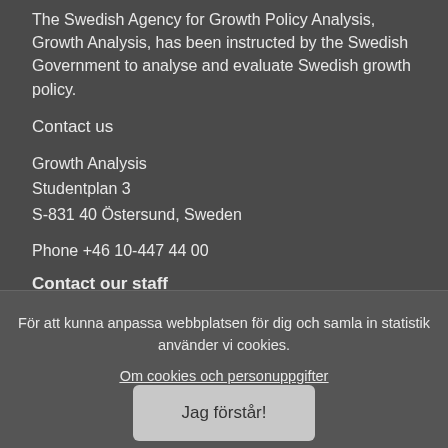The Swedish Agency for Growth Policy Analysis, Growth Analysis, has been instructed by the Swedish Government to analyse and evaluate Swedish growth policy.
Contact us
Growth Analysis
Studentplan 3
S-831 40 Östersund, Sweden
Phone +46 10-447 44 00
Contact our staff
För att kunna anpassa webbplatsen för dig och samla in statistik använder vi cookies.
Om cookies och personuppgifter
Jag förstår!